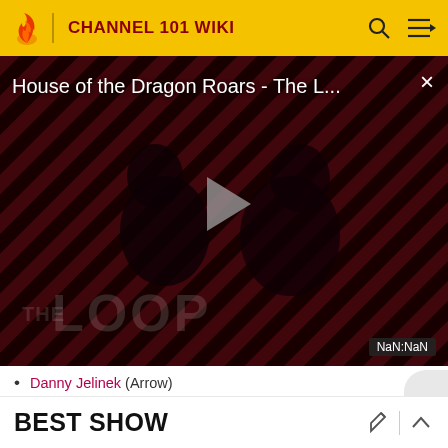CHANNEL 101 WIKI
[Figure (screenshot): Video thumbnail showing 'House of the Dragon Roars - The L...' with a play button, diagonal stripe background in red and dark colors, 'THE LOOP' text watermark, two person silhouettes, and a NaN:NaN time display.]
Danny Jelinek (Arrow)
Mike Manasewitsch & Willy Roberts (George Warric...
David Seger (Ikea Heights)
BEST SHOW